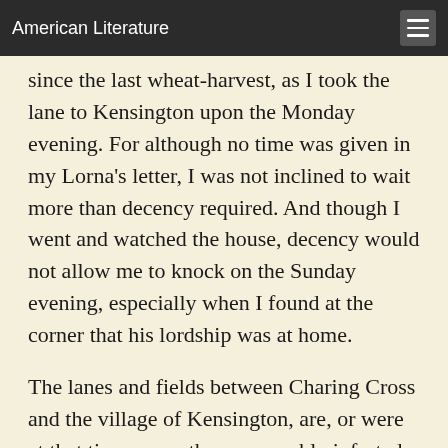American Literature
since the last wheat-harvest, as I took the lane to Kensington upon the Monday evening. For although no time was given in my Lorna's letter, I was not inclined to wait more than decency required. And though I went and watched the house, decency would not allow me to knock on the Sunday evening, especially when I found at the corner that his lordship was at home.
The lanes and fields between Charing Cross and the village of Kensington, are, or were at that time, more than reasonably infested with footpads and with highwaymen. However, my stature and holly club kept these fellows from doing more than